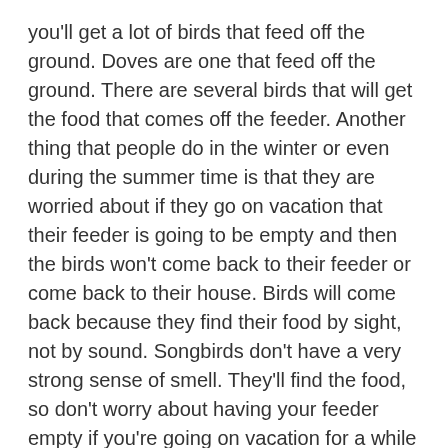you'll get a lot of birds that feed off the ground. Doves are one that feed off the ground. There are several birds that will get the food that comes off the feeder. Another thing that people do in the winter or even during the summer time is that they are worried about if they go on vacation that their feeder is going to be empty and then the birds won't come back to their feeder or come back to their house. Birds will come back because they find their food by sight, not by sound. Songbirds don't have a very strong sense of smell. They'll find the food, so don't worry about having your feeder empty if you're going on vacation for a while because they will come back. You can put food—I've had my feeders empty a couple of days and I forgot to put it out there, and before I can even get it hung up on the pole, they are back there on the feeder trying to get to the food while I'm trying to hang it on